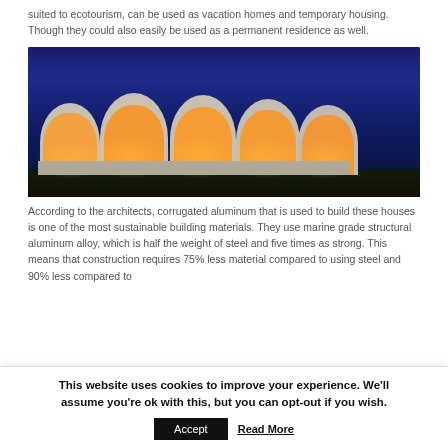suited to ecotourism, can be used as vacation homes and temporary housing. Though they could also easily be used as a permanent residence as well.
[Figure (photo): Night-time exterior photograph of a series of curved modular pod houses with illuminated interiors glowing warm orange against a dark blue evening sky, set on a hillside landscape.]
According to the architects, corrugated aluminum that is used to build these houses is one of the most sustainable building materials. They use marine grade structural aluminum alloy, which is half the weight of steel and five times as strong. This means that construction requires 75% less material compared to using steel and 90% less compared to
This website uses cookies to improve your experience. We'll assume you're ok with this, but you can opt-out if you wish.
Accept  Read More